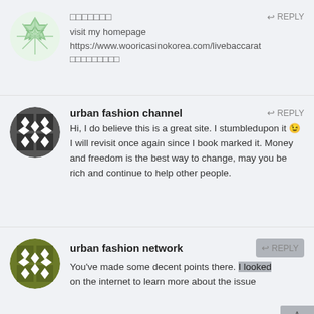[Figure (illustration): Light green geometric snowflake-pattern avatar icon (circle)]
□□□□□□□
REPLY
visit my homepage
https://www.wooricasinokorea.com/livebaccarat
□□□□□□□□□
[Figure (illustration): Dark gray/black geometric diamond-pattern avatar icon (circle)]
urban fashion channel
REPLY
Hi, I do believe this is a great site. I stumbledupon it 😉 I will revisit once again since I book marked it. Money and freedom is the best way to change, may you be rich and continue to help other people.
[Figure (illustration): Olive green geometric diamond-pattern avatar icon (circle)]
urban fashion network
REPLY
You've made some decent points there. I looked on the internet to learn more about the issue